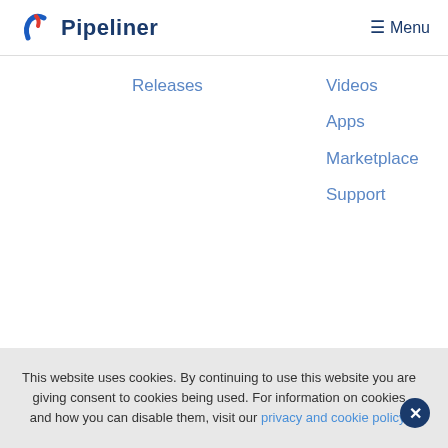Pipeliner  ≡Menu
Releases
Videos
Enablement
Apps
Sales
Marketplace
Techniques
Support
What is
CRM
Reference
Library
This website uses cookies. By continuing to use this website you are giving consent to cookies being used. For information on cookies and how you can disable them, visit our privacy and cookie policy.